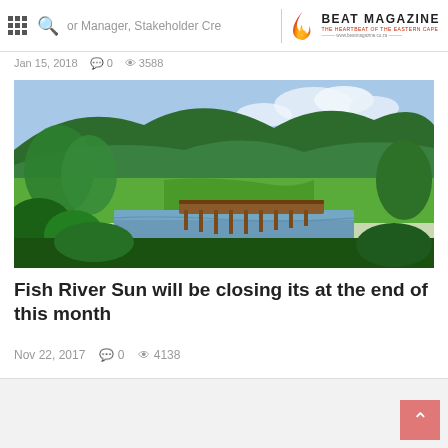BEAT MAGAZINE — THE HEARTBEAT OF THE EASTERN CAPE — www.beatmagazine.co.za
Jan 15, 2018  0  3588
[Figure (photo): Scenic landscape photo showing a wooden bridge over a lake, surrounded by lush green hills and trees under a blue sky — Fish River Sun golf course area.]
Fish River Sun will be closing its at the end of this month
Nov 22, 2017  0  4138